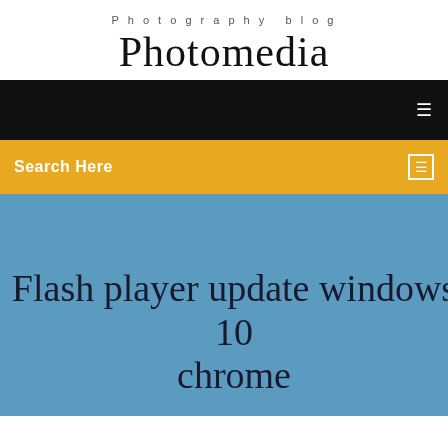Photography blog
Photomedia
[Figure (screenshot): Black navigation bar with white menu icon on the right]
Search Here
Flash player update windows 10 chrome